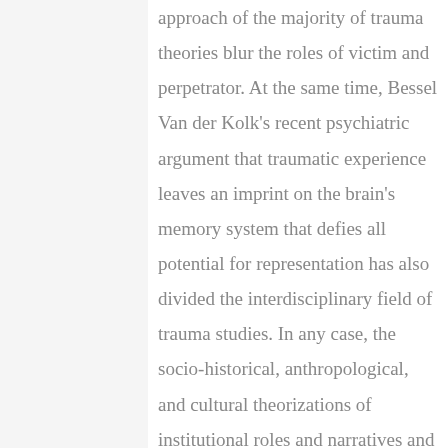approach of the majority of trauma theories blur the roles of victim and perpetrator. At the same time, Bessel Van der Kolk's recent psychiatric argument that traumatic experience leaves an imprint on the brain's memory system that defies all potential for representation has also divided the interdisciplinary field of trauma studies. In any case, the socio-historical, anthropological, and cultural theorizations of institutional roles and narratives and the ways that they influence